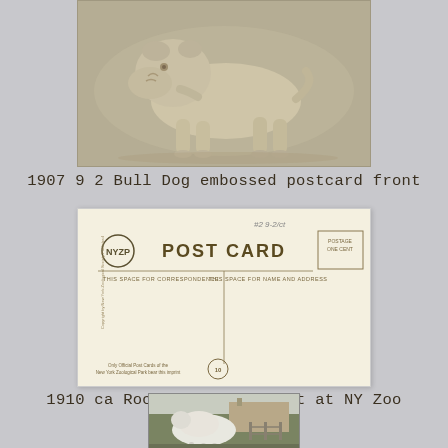[Figure (photo): Embossed postcard front showing a bulldog in profile, relief image on grey/tan background]
1907 9 2 Bull Dog embossed postcard front
[Figure (photo): Back of a postcard reading POST CARD with NYZP logo, spaces for correspondence and name/address, copyright info for New York Zoological Park]
1910 ca Rocky Mountain Goat at NY Zoo postcard back
[Figure (photo): Partial view of a postcard showing a Rocky Mountain Goat at the NY Zoo, with a building visible in the background]